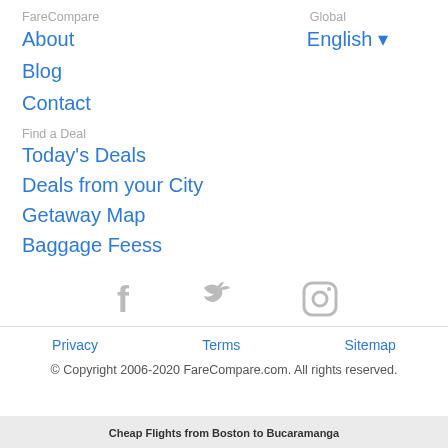FareCompare
Global
About
English ▾
Blog
Contact
Find a Deal
Today's Deals
Deals from your City
Getaway Map
Baggage Feess
[Figure (illustration): Social media icons: Facebook, Twitter, Instagram (all gray)]
Privacy   Terms   Sitemap
© Copyright 2006-2020 FareCompare.com. All rights reserved.
Cheap Flights from Boston to Bucaramanga